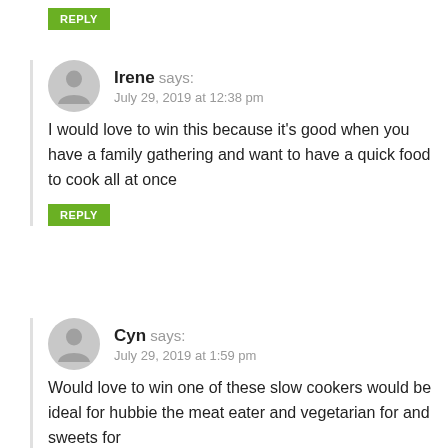REPLY
Irene says: July 29, 2019 at 12:38 pm
I would love to win this because it's good when you have a family gathering and want to have a quick food to cook all at once
REPLY
Cyn says: July 29, 2019 at 1:59 pm
Would love to win one of these slow cookers would be ideal for hubbie the meat eater and vegetarian for and sweets for